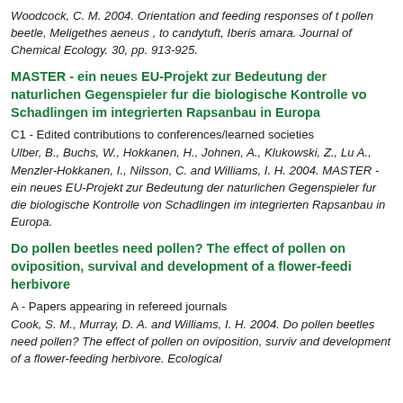Woodcock, C. M. 2004. Orientation and feeding responses of the pollen beetle, Meligethes aeneus , to candytuft, Iberis amara. Journal of Chemical Ecology. 30, pp. 913-925.
MASTER - ein neues EU-Projekt zur Bedeutung der naturlichen Gegenspieler fur die biologische Kontrolle vo Schadlingen im integrierten Rapsanbau in Europa
C1 - Edited contributions to conferences/learned societies
Ulber, B., Buchs, W., Hokkanen, H., Johnen, A., Klukowski, Z., Lu A., Menzler-Hokkanen, I., Nilsson, C. and Williams, I. H. 2004. MASTER - ein neues EU-Projekt zur Bedeutung der naturlichen Gegenspieler fur die biologische Kontrolle von Schadlingen im integrierten Rapsanbau in Europa.
Do pollen beetles need pollen? The effect of pollen on oviposition, survival and development of a flower-feedi herbivore
A - Papers appearing in refereed journals
Cook, S. M., Murray, D. A. and Williams, I. H. 2004. Do pollen beetles need pollen? The effect of pollen on oviposition, survi and development of a flower-feeding herbivore. Ecological...